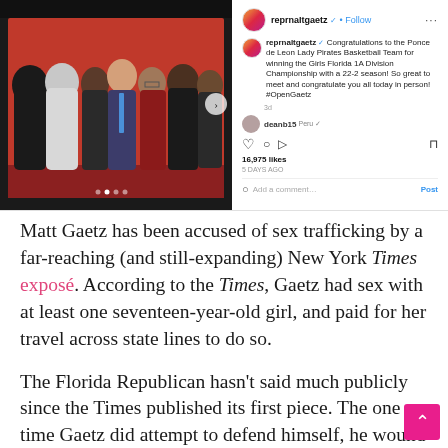[Figure (screenshot): Instagram post by reprnaItgaetz showing a photo of Matt Gaetz with a girls basketball team in a gym with red walls. The post caption reads: 'Congratulations to the Ponce de Leon Lady Pirates Basketball Team for winning the Girls Florida 1A Division Championship with a 22-2 season! So great to meet and congratulate you all today in person! #OpenGaetz'. The post shows 16,975 likes and a comment from deanb15.]
Matt Gaetz has been accused of sex trafficking by a far-reaching (and still-expanding) New York Times exposé. According to the Times, Gaetz had sex with at least one seventeen-year-old girl, and paid for her travel across state lines to do so.
The Florida Republican hasn't said much publicly since the Times published its first piece. The one time Gaetz did attempt to defend himself, he wound up trying to drag Tucker Carlson down with him.